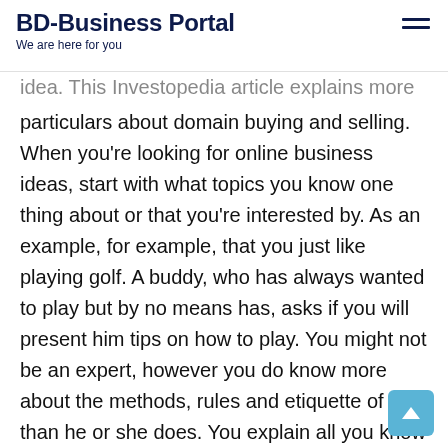BD-Business Portal
We are here for you
idea. This Investopedia article explains more particulars about domain buying and selling. When you're looking for online business ideas, start with what topics you know one thing about or that you're interested by. As an example, for example, that you just like playing golf. A buddy, who has always wanted to play but by no means has, asks if you will present him tips on how to play. You might not be an expert, however you do know more about the methods, rules and etiquette of golf than he or she does. You explain all you know about golf and assist your friend as much as you can. You then suggest your pal to a golf professional or trainer who helped